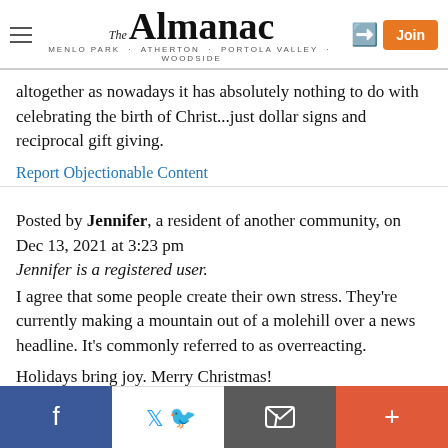The Almanac — MENLO PARK · ATHERTON · PORTOLA VALLEY · WOODSIDE
altogether as nowadays it has absolutely nothing to do with celebrating the birth of Christ...just dollar signs and reciprocal gift giving.
Report Objectionable Content
Posted by Jennifer, a resident of another community, on Dec 13, 2021 at 3:23 pm
Jennifer is a registered user.
I agree that some people create their own stress. They're currently making a mountain out of a molehill over a news headline. It's commonly referred to as overreacting.
Holidays bring joy. Merry Christmas!